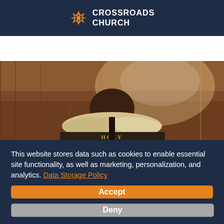[Figure (logo): Crossroads Church logo with orange X icon and white text on dark navy background]
[Figure (photo): Person reading Holy Bible, viewed from behind, wooden background with warm light]
This website stores data such as cookies to enable essential site functionality, as well as marketing, personalization, and analytics. Data Storage Policy
Accept
Deny